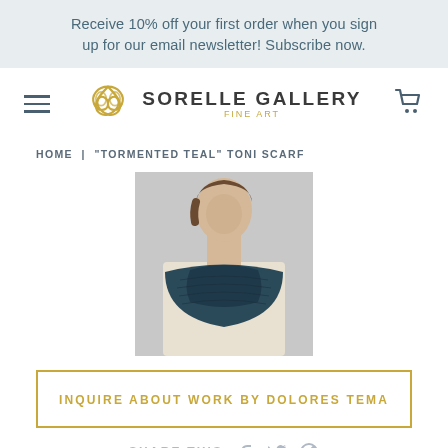Receive 10% off your first order when you sign up for our email newsletter! Subscribe now.
[Figure (logo): Sorelle Gallery Fine Art logo with golden knotwork emblem and text]
HOME | "TORMENTED TEAL" TONI SCARF
[Figure (photo): Person wearing a teal/dark blue knit scarf around their neck, wearing a cream sweater, face partially visible]
INQUIRE ABOUT WORK BY DOLORES TEMA
SHARE THIS